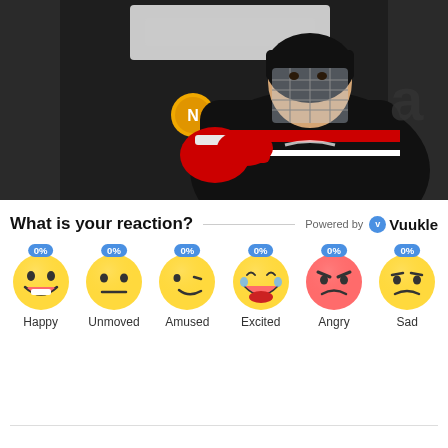[Figure (photo): Hockey player in black jersey with Nike logo and face shield/visor, pointing toward camera, wearing red and white gloves, dark background]
What is your reaction?  Powered by Vuukle
[Figure (infographic): Six emoji reaction buttons each showing 0%: Happy, Unmoved, Amused, Excited, Angry, Sad]